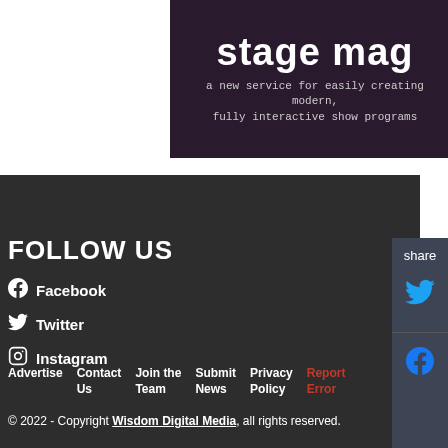[Figure (screenshot): Stage Mag advertisement banner: dark purple/maroon background with large white bold text reading 'stage mag' and subtitle 'a new service for easily creating modern, fully interactive show programs']
FOLLOW US
Facebook
Twitter
Instagram
Advertise   Contact Us   Join the Team   Submit News   Privacy Policy   Report Error
© 2022 - Copyright Wisdom Digital Media, all rights reserved.